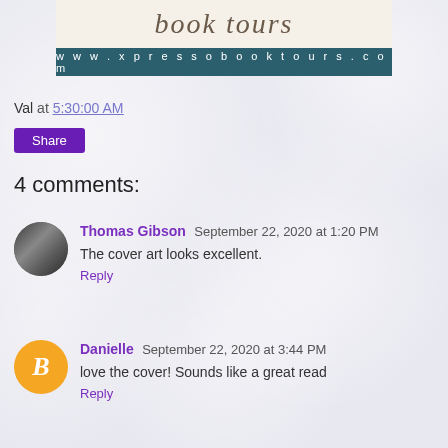[Figure (logo): Xpresso Book Tours logo with cursive script text and teal URL bar reading www.xpressobooktours.com]
Val at 5:30:00 AM
Share
4 comments:
Thomas Gibson September 22, 2020 at 1:20 PM
The cover art looks excellent.
Reply
Danielle September 22, 2020 at 3:44 PM
love the cover! Sounds like a great read
Reply